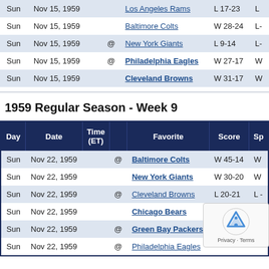| Day | Date | Time (ET) |  | Favorite | Score | Sp |
| --- | --- | --- | --- | --- | --- | --- |
| Sun | Nov 15, 1959 |  |  | Los Angeles Rams | L 17-23 | L |
| Sun | Nov 15, 1959 |  |  | Baltimore Colts | W 28-24 | L- |
| Sun | Nov 15, 1959 |  | @ | New York Giants | L 9-14 | L- |
| Sun | Nov 15, 1959 |  | @ | Philadelphia Eagles | W 27-17 | W |
| Sun | Nov 15, 1959 |  |  | Cleveland Browns | W 31-17 | W |
1959 Regular Season - Week 9
| Day | Date | Time (ET) |  | Favorite | Score | Sp |
| --- | --- | --- | --- | --- | --- | --- |
| Sun | Nov 22, 1959 |  | @ | Baltimore Colts | W 45-14 | W |
| Sun | Nov 22, 1959 |  |  | New York Giants | W 30-20 | W |
| Sun | Nov 22, 1959 |  | @ | Cleveland Browns | L 20-21 | L - |
| Sun | Nov 22, 1959 |  |  | Chicago Bears | W 24-14 | W |
| Sun | Nov 22, 1959 |  | @ | Green Bay Packers | W 21-0 | W |
| Sun | Nov 22, 1959 |  | @ | Philadelphia Eagles |  |  |